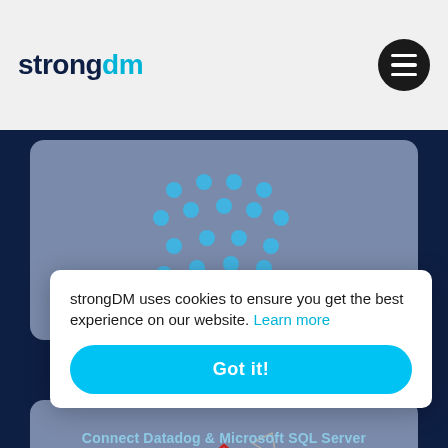Connect Datadog & Memcached
[Figure (logo): strongDM logo - 'strong' in dark navy bold, 'dm' in cyan bold]
[Figure (illustration): Datadog dot grid logo on grey card background]
Connect Datadog & Metabase
[Figure (illustration): Microsoft SQL Server red diamond logo on grey card background]
strongDM uses cookies to ensure you get the best experience on our website. Learn more
Got it!
Connect Datadog & Microsoft SQL Server